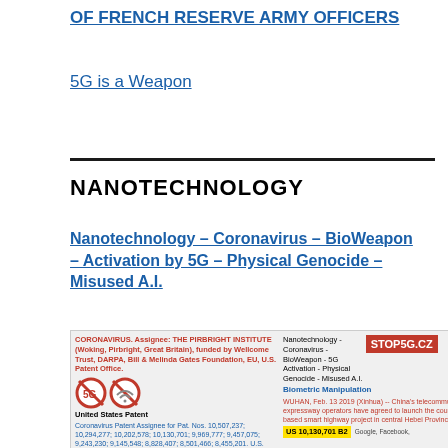OF FRENCH RESERVE ARMY OFFICERS
5G is a Weapon
NANOTECHNOLOGY
Nanotechnology – Coronavirus – BioWeapon – Activation by 5G – Physical Genocide – Misused A.I.
[Figure (screenshot): Composite image showing coronavirus patent assignee information (THE PIRBRIGHT INSTITUTE, funded by Wellcome Trust, DARPA, Bill & Melinda Gates Foundation, EU, U.S. Patent Office), patent numbers, a 5G no symbol, nanotechnology-coronavirus-bioweapon-5G activation text, STOP5G.CZ badge, Biometric Manipulation text, WUHAN Feb 13 2019 Xinhua article excerpt, US 10,130,701 B2 patent reference, and a scroll-to-top button.]